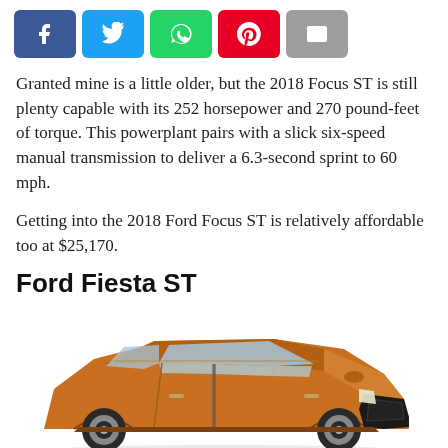[Figure (other): Social share bar with Facebook, Twitter, WhatsApp, Pinterest, and Email buttons]
Granted mine is a little older, but the 2018 Focus ST is still plenty capable with its 252 horsepower and 270 pound-feet of torque. This powerplant pairs with a slick six-speed manual transmission to deliver a 6.3-second sprint to 60 mph.
Getting into the 2018 Ford Focus ST is relatively affordable too at $25,170.
Ford Fiesta ST
[Figure (photo): Photo of an orange Ford Fiesta ST hatchback car viewed from a front three-quarter angle]